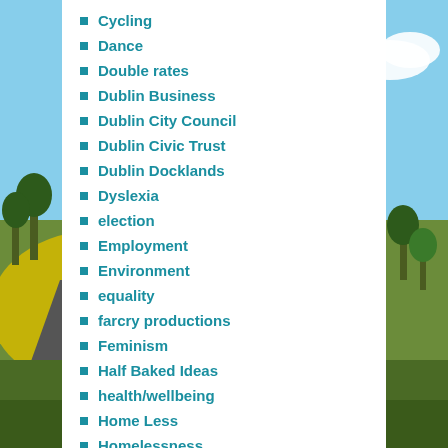Cycling
Dance
Double rates
Dublin Business
Dublin City Council
Dublin Civic Trust
Dublin Docklands
Dyslexia
election
Employment
Environment
equality
farcry productions
Feminism
Half Baked Ideas
health/wellbeing
Home Less
Homelessness
Housing
Human Rights
Irish language